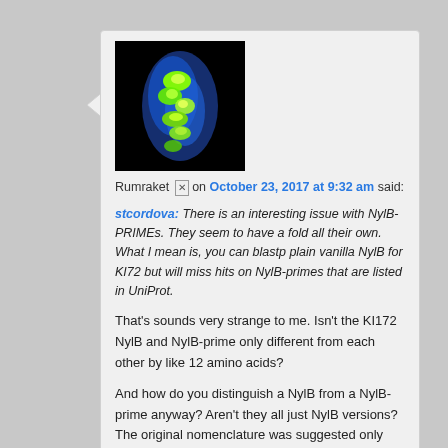[Figure (photo): Avatar image showing a green and blue color-coded molecular or protein structure visualization against a black background]
Rumraket [x] on October 23, 2017 at 9:32 am said:
stcordova: There is an interesting issue with NylB-PRIMEs. They seem to have a fold all their own. What I mean is, you can blastp plain vanilla NylB for KI72 but will miss hits on NylB-primes that are listed in UniProt.
That’s sounds very strange to me. Isn’t the KI172 NylB and NylB-prime only different from each other by like 12 amino acids?
And how do you distinguish a NylB from a NylB-prime anyway? Aren't they all just NylB versions? The original nomenclature was suggested only because, at the time, NylB and NylB-prime was known from the pOAD2 plasmid harbored in Flavobacterium Sp. KI172. And either of them is a